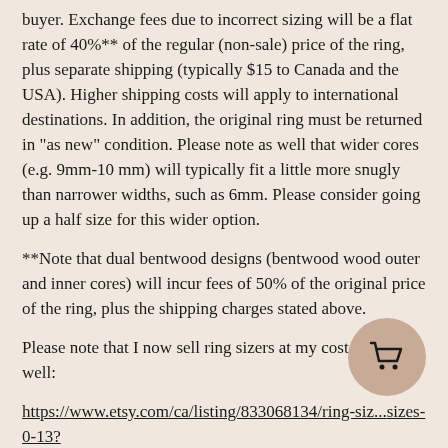buyer. Exchange fees due to incorrect sizing will be a flat rate of 40%** of the regular (non-sale) price of the ring, plus separate shipping (typically $15 to Canada and the USA). Higher shipping costs will apply to international destinations. In addition, the original ring must be returned in "as new" condition. Please note as well that wider cores (e.g. 9mm-10 mm) will typically fit a little more snugly than narrower widths, such as 6mm. Please consider going up a half size for this wider option.
**Note that dual bentwood designs (bentwood wood outer and inner cores) will incur fees of 50% of the original price of the ring, plus the shipping charges stated above.
Please note that I now sell ring sizers at my cost that work well:
https://www.etsy.com/ca/listing/833068134/ring-siz...sizes-0-13?
click_key=23c63089c6d31c0eace1e548be04fba649539ab4%3A8